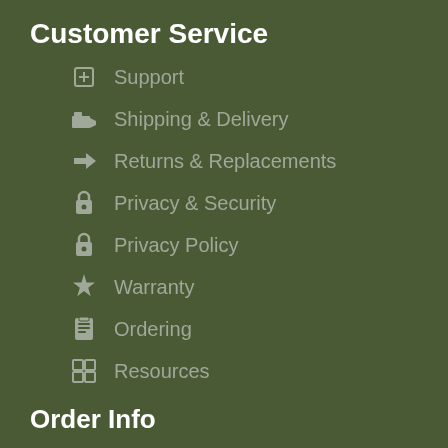Customer Service
Support
Shipping & Delivery
Returns & Replacements
Privacy & Security
Privacy Policy
Warranty
Ordering
Resources
Order Info
Order Status
Shipping & Delivery
My Account